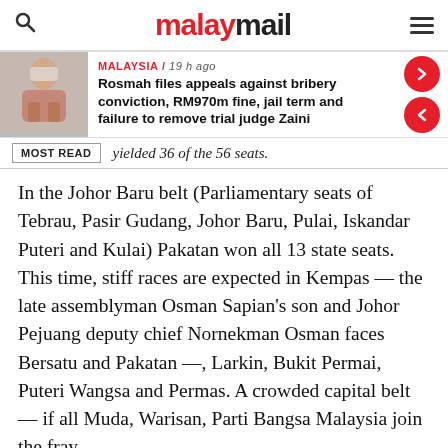malaymail
[Figure (photo): Photo of a person wearing a mask, likely Rosmah Mansor]
MALAYSIA / 19 h ago
Rosmah files appeals against bribery conviction, RM970m fine, jail term and failure to remove trial judge Zaini
yielded 36 of the 56 seats.
In the Johor Baru belt (Parliamentary seats of Tebrau, Pasir Gudang, Johor Baru, Pulai, Iskandar Puteri and Kulai) Pakatan won all 13 state seats. This time, stiff races are expected in Kempas — the late assemblyman Osman Sapian's son and Johor Pejuang deputy chief Nornekman Osman faces Bersatu and Pakatan —, Larkin, Bukit Permai, Puteri Wangsa and Permas. A crowded capital belt — if all Muda, Warisan, Parti Bangsa Malaysia join the fray.
Pakatan was unusually dominant in the northwest (seven parliamentary seats of Segamat, Sekijang,